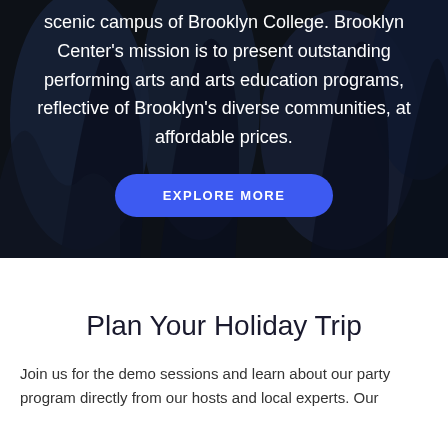scenic campus of Brooklyn College. Brooklyn Center's mission is to present outstanding performing arts and arts education programs, reflective of Brooklyn's diverse communities, at affordable prices.
[Figure (illustration): Dark background with silhouettes of dancing figures in dark blue/black tones]
Plan Your Holiday Trip
Join us for the demo sessions and learn about our party program directly from our hosts and local experts. Our